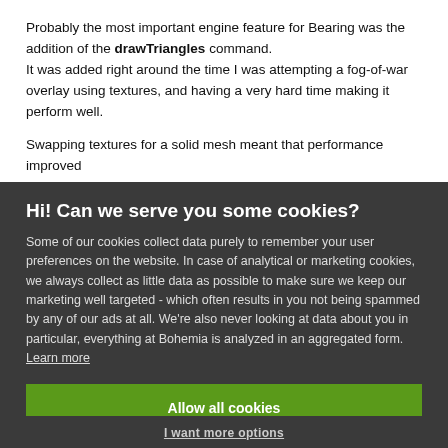Probably the most important engine feature for Bearing was the addition of the drawTriangles command. It was added right around the time I was attempting a fog-of-war overlay using textures, and having a very hard time making it perform well.
Swapping textures for a solid mesh meant that performance improved
Hi! Can we serve you some cookies?
Some of our cookies collect data purely to remember your user preferences on the website. In case of analytical or marketing cookies, we always collect as little data as possible to make sure we keep our marketing well targeted - which often results in you not being spammed by any of our ads at all. We're also never looking at data about you in particular, everything at Bohemia is analyzed in an aggregated form. Learn more
Allow all cookies
I want more options